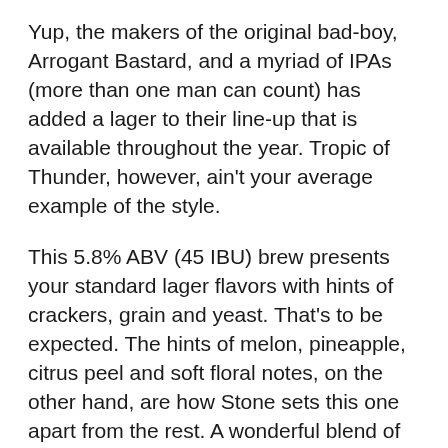Yup, the makers of the original bad-boy, Arrogant Bastard, and a myriad of IPAs (more than one man can count) has added a lager to their line-up that is available throughout the year. Tropic of Thunder, however, ain't your average example of the style.
This 5.8% ABV (45 IBU) brew presents your standard lager flavors with hints of crackers, grain and yeast. That's to be expected. The hints of melon, pineapple, citrus peel and soft floral notes, on the other hand, are how Stone sets this one apart from the rest. A wonderful blend of Citra, Mosaic and Cashmere hop varieties deliver that smooth array of tropical aromas and flavors that are nicely balanced with the core malt characteristics.
A light-to-moderate level of hop bitterness tingles the palate for a good long while as a soft malt sweetness keeps it all in check. The crisp and clean Tropic of Thunder also lingers on your palate in...